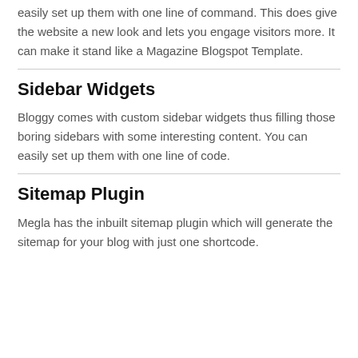easily set up them with one line of command. This does give the website a new look and lets you engage visitors more. It can make it stand like a Magazine Blogspot Template.
Sidebar Widgets
Bloggy comes with custom sidebar widgets thus filling those boring sidebars with some interesting content. You can easily set up them with one line of code.
Sitemap Plugin
Megla has the inbuilt sitemap plugin which will generate the sitemap for your blog with just one shortcode.